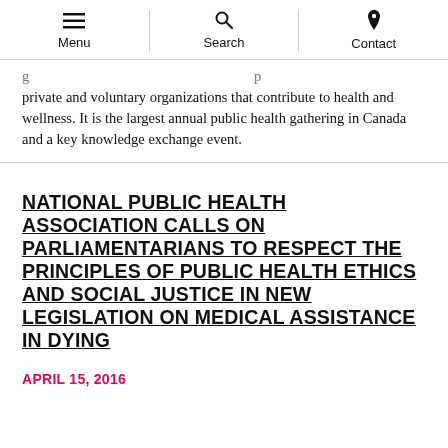Menu | Search | Contact
…private and voluntary organizations that contribute to health and wellness. It is the largest annual public health gathering in Canada and a key knowledge exchange event.
NATIONAL PUBLIC HEALTH ASSOCIATION CALLS ON PARLIAMENTARIANS TO RESPECT THE PRINCIPLES OF PUBLIC HEALTH ETHICS AND SOCIAL JUSTICE IN NEW LEGISLATION ON MEDICAL ASSISTANCE IN DYING
APRIL 15, 2016